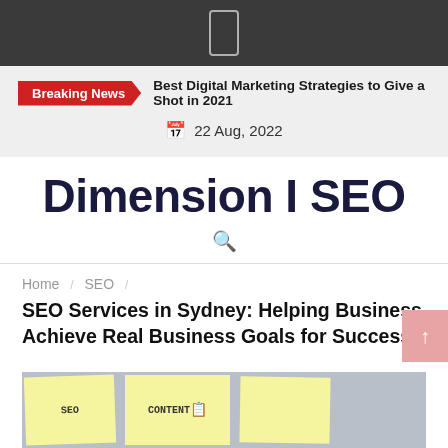[phone icon]
Breaking News  Best Digital Marketing Strategies to Give a Shot in 2021
📅 22 Aug, 2022
Dimension I SEO
🔍
Home / SEO /
SEO Services in Sydney: Helping Business Achieve Real Business Goals for Success
[Figure (photo): Sticky notes on a wall including one labeled CONTENT]